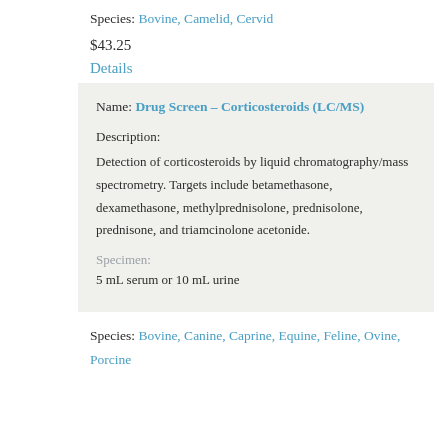Species: Bovine, Camelid, Cervid
$43.25
Details
Name: Drug Screen – Corticosteroids (LC/MS)
Description:
Detection of corticosteroids by liquid chromatography/mass spectrometry. Targets include betamethasone, dexamethasone, methylprednisolone, prednisolone, prednisone, and triamcinolone acetonide.
Specimen:
5 mL serum or 10 mL urine
Species: Bovine, Canine, Caprine, Equine, Feline, Ovine, Porcine